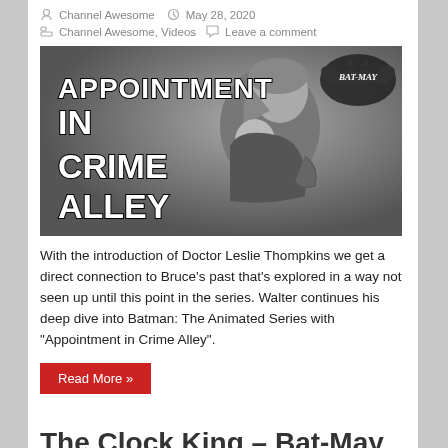Channel Awesome   May 28, 2020
Channel Awesome, Videos   Leave a comment
[Figure (illustration): Animated thumbnail for 'Appointment in Crime Alley' – greyscale illustration of a woman holding a young boy, with decorative white art-deco lettering reading 'APPOINTMENT IN CRIME ALLEY' and a 'BAT-MAY' logo bat in the upper right.]
With the introduction of Doctor Leslie Thompkins we get a direct connection to Bruce's past that's explored in a way not seen up until this point in the series. Walter continues his deep dive into Batman: The Animated Series with "Appointment in Crime Alley".
Read More »
The Clock King – Bat-May